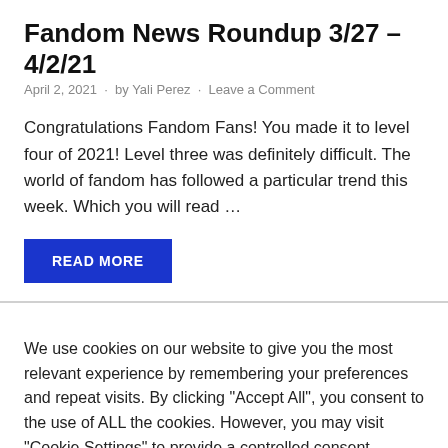Fandom News Roundup 3/27 – 4/2/21
April 2, 2021  ·  by Yali Perez  ·  Leave a Comment
Congratulations Fandom Fans! You made it to level four of 2021! Level three was definitely difficult. The world of fandom has followed a particular trend this week. Which you will read …
READ MORE
We use cookies on our website to give you the most relevant experience by remembering your preferences and repeat visits. By clicking "Accept All", you consent to the use of ALL the cookies. However, you may visit "Cookie Settings" to provide a controlled consent.
Cookie Settings
Accept All